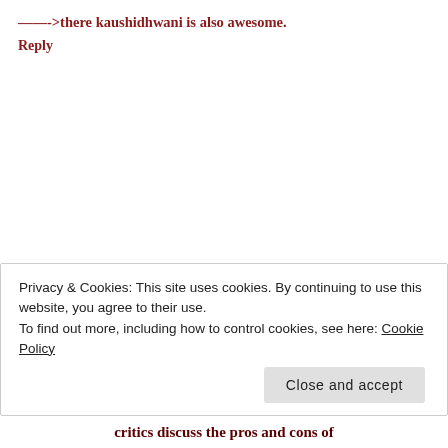——->there kaushidhwani is also awesome.
Reply
[Figure (illustration): Purple decorative avatar icon with diamond shapes arranged in a symmetric pattern on a white background]
Kabir Altaf says: November 12, 2007 at 10:19 pm As a student of both Indian Classical and Western Classical Music, I feel that music is something that can definitely be criticized
Privacy & Cookies: This site uses cookies. By continuing to use this website, you agree to their use. To find out more, including how to control cookies, see here: Cookie Policy
Close and accept
critics discuss the pros and cons of